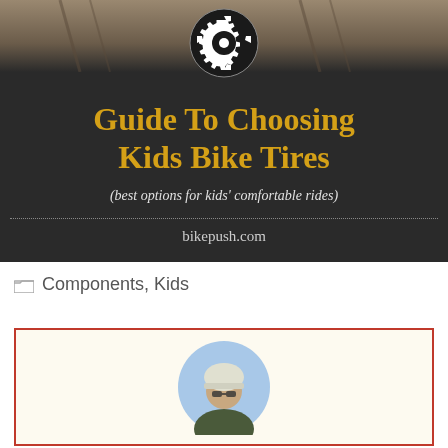[Figure (infographic): Dark banner with gear icon, title 'Guide To Choosing Kids Bike Tires', subtitle '(best options for kids' comfortable rides)', and URL 'bikepush.com']
Components, Kids
[Figure (photo): Author photo in circular frame showing a person wearing a cycling helmet and sunglasses, inside a cream-colored box with red border]